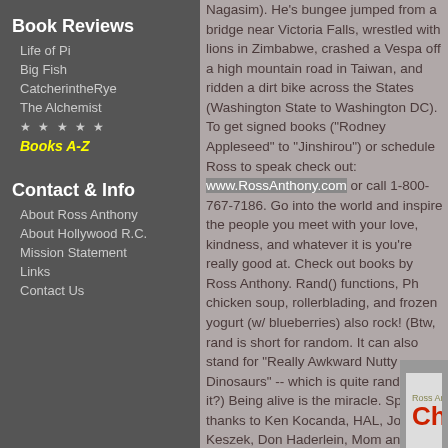Book Reviews
Life of Pi
Big Fish
CatcherintheRye
The Alchemist
★ ★ ★ ★ ★
Books A-Z
Contact & Info
About Ross Anthony
About Hollywood R.C.
Mission Statement
Links
Contact Us
Nagasim). He's bungee jumped from a bridge near Victoria Falls, wrestled with lions in Zimbabwe, crashed a Vespa off a high mountain road in Taiwan, and ridden a dirt bike across the States (Washington State to Washington DC). To get signed books ("Rodney Appleseed" to "Jinshirou") or schedule Ross to speak check out: www.RossAnthony.com or call 1-800-767-7186. Go into the world and inspire the people you meet with your love, kindness, and whatever it is you're really good at. Check out books by Ross Anthony. Rand() functions, Ph chicken soup, rollerblading, and frozen yogurt (w/ blueberries) also rock! (Btw, rand is short for random. It can also stand for "Really Awkward Nutty Dinosaurs" -- which is quite rand, isn't it?) Being alive is the miracle. Special thanks to Ken Kocanda, HAL, Jodie Keszek, Don Haderlein, Mom and Pops, my family, R. Foss, and many others by Ross Anthony. Galati-FE also deserves a shout out. And thanks to all of you for your interest and optimism. Enjoy great films, read stirring novels, grow.
[Figure (logo): Ross Anthony's Chili4Homeless logo/banner at the bottom of the page]